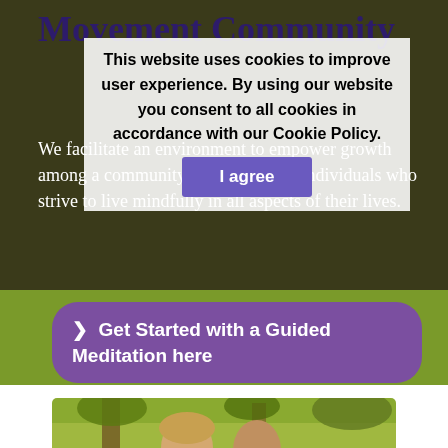Movement Community
We facilitate an environment to empower growth among a community of like-minded individuals who strive to live mindfully in all aspects of their lives.
This website uses cookies to improve user experience. By using our website you consent to all cookies in accordance with our Cookie Policy.
I agree
❯  Get Started with a Guided Meditation here
[Figure (photo): Two people (a woman and a bald man) photographed outdoors with green trees in background]